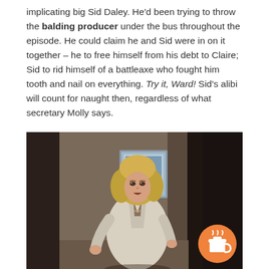implicating big Sid Daley. He'd been trying to throw the balding producer under the bus throughout the episode. He could claim he and Sid were in on it together – he to free himself from his debt to Claire; Sid to rid himself of a battleaxe who fought him tooth and nail on everything. Try it, Ward! Sid's alibi will count for naught then, regardless of what secretary Molly says.
[Figure (photo): A blonde woman in a white blazer walking through a doorway in what appears to be a scene from a television show or film. The image has a vintage look consistent with 1970s-1980s era television production.]